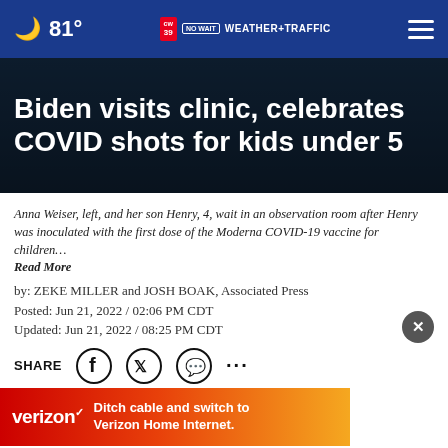81° CW39 NO WAIT WEATHER+TRAFFIC
Biden visits clinic, celebrates COVID shots for kids under 5
Anna Weiser, left, and her son Henry, 4, wait in an observation room after Henry was inoculated with the first dose of the Moderna COVID-19 vaccine for children… Read More
by: ZEKE MILLER and JOSH BOAK, Associated Press
Posted: Jun 21, 2022 / 02:06 PM CDT
Updated: Jun 21, 2022 / 08:25 PM CDT
SHARE
WASH... and a vaccination clinic Tuesday to celebrate that virtually all